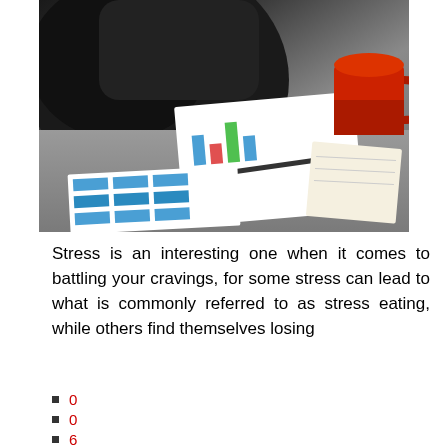[Figure (photo): Overhead view of a stressed person with head in hands at a desk covered with documents, charts, papers and a red coffee mug]
Stress is an interesting one when it comes to battling your cravings, for some stress can lead to what is commonly referred to as stress eating, while others find themselves losing
0
0
6
0